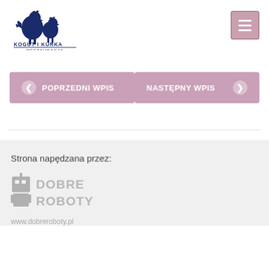[Figure (logo): Kogut i Kurka Restauracja logo — two roosters/chickens silhouette in dark blue, with text 'KOGUT I KURKA RESTAURACJA' below]
[Figure (other): Hamburger menu button — pinkish-mauve square with three horizontal white lines]
POPRZEDNI WPIS
NASTĘPNY WPIS
Strona napędzana przez:
[Figure (logo): Dobre Roboty logo — robot icon with text 'DOBRE ROBOTY' in gray]
www.dobreroboty.pl